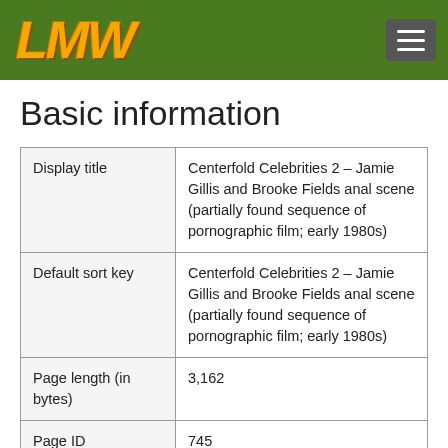[Figure (logo): LMW logo in gold/orange italic text on dark green background header with hamburger menu button on right]
Basic information
| Display title | Centerfold Celebrities 2 – Jamie Gillis and Brooke Fields anal scene (partially found sequence of pornographic film; early 1980s) |
| Default sort key | Centerfold Celebrities 2 – Jamie Gillis and Brooke Fields anal scene (partially found sequence of pornographic film; early 1980s) |
| Page length (in bytes) | 3,162 |
| Page ID | 745 |